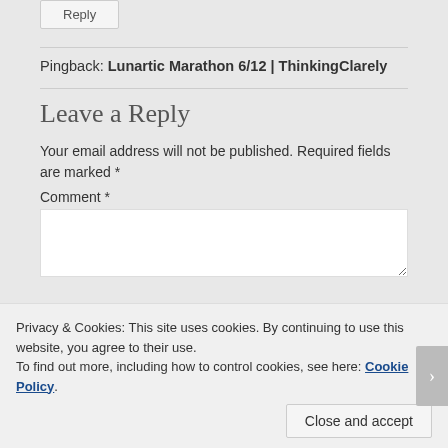Reply
Pingback: Lunartic Marathon 6/12 | ThinkingClarely
Leave a Reply
Your email address will not be published. Required fields are marked *
Comment *
Privacy & Cookies: This site uses cookies. By continuing to use this website, you agree to their use.
To find out more, including how to control cookies, see here: Cookie Policy
Close and accept